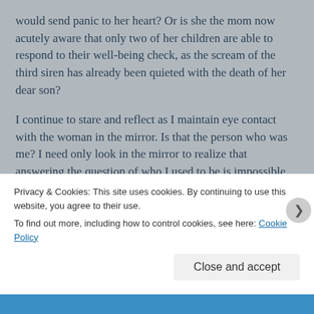would send panic to her heart? Or is she the mom now acutely aware that only two of her children are able to respond to their well-being check, as the scream of the third siren has already been quieted with the death of her dear son?
I continue to stare and reflect as I maintain eye contact with the woman in the mirror. Is that the person who was me? I need only look in the mirror to realize that answering the question of who I used to be is impossible without relating it to the death of my son. The reflection in the glass tells me that there will never be an old me without the new me in sight.
Privacy & Cookies: This site uses cookies. By continuing to use this website, you agree to their use.
To find out more, including how to control cookies, see here: Cookie Policy